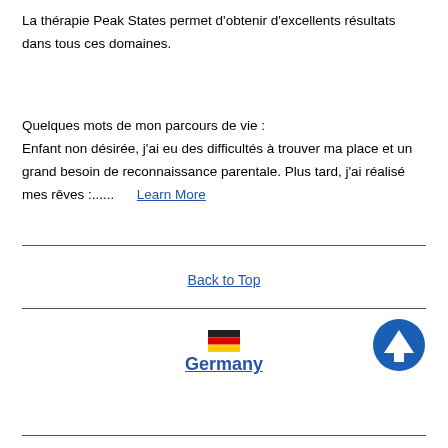La thérapie Peak States permet d'obtenir d'excellents résultats dans tous ces domaines.
Quelques mots de mon parcours de vie :
Enfant non désirée, j'ai eu des difficultés à trouver ma place et un grand besoin de reconnaissance parentale. Plus tard, j'ai réalisé mes rêves :...... Learn More
Back to Top
[Figure (illustration): German flag icon followed by bold underlined text 'Germany' and an upward arrow icon in the bottom right]
Germany